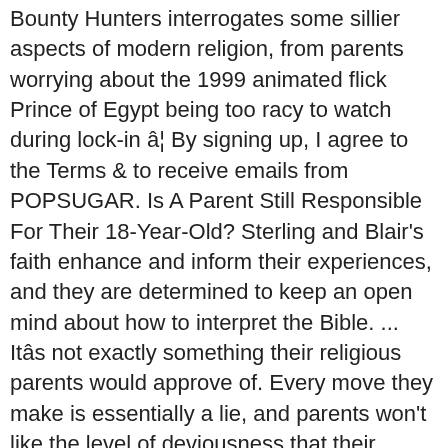Bounty Hunters interrogates some sillier aspects of modern religion, from parents worrying about the 1999 animated flick Prince of Egypt being too racy to watch during lock-in â¦ By signing up, I agree to the Terms & to receive emails from POPSUGAR. Is A Parent Still Responsible For Their 18-Year-Old? Sterling and Blair's faith enhance and inform their experiences, and they are determined to keep an open mind about how to interpret the Bible. ... Itâs not exactly something their religious parents would approve of. Every move they make is essentially a lie, and parents won't like the level of deviousness that their children will be exposed to during the various episodes. POPSUGAR reveals this show is about two twins named Sterling and Blair who crash their dad's car, "and in order to earn money to repair it, becoming part-time bounty hunters for their mentor Bowser." Here Are The Shows Leaving Netflix In December, So Watch Them Soon! Young, impressionable children really shouldn't be learning how to create an alias and evade their parents in this manner, especially if they're too young to adequately separate facts